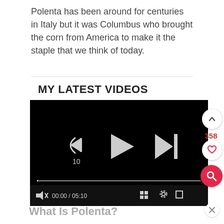Polenta has been around for centuries in Italy but it was Columbus who brought the corn from America to make it the staple that we think of today.
MY LATEST VIDEOS
[Figure (screenshot): A video player with black background showing playback controls: rewind 10s button, play button, skip-to-next button, a progress bar, mute button, time display 00:00 / 05:10, grid/chapters button, settings gear icon, fullscreen icon.]
What Is Polenta?